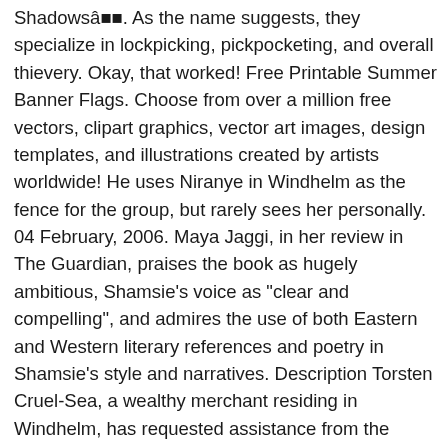Shadowsâ. As the name suggests, they specialize in lockpicking, pickpocketing, and overall thievery. Okay, that worked! Free Printable Summer Banner Flags. Choose from over a million free vectors, clipart graphics, vector art images, design templates, and illustrations created by artists worldwide! He uses Niranye in Windhelm as the fence for the group, but rarely sees her personally. 04 February, 2006. Maya Jaggi, in her review in The Guardian, praises the book as hugely ambitious, Shamsie's voice as "clear and compelling", and admires the use of both Eastern and Western literary references and poetry in Shamsie's style and narratives. Description Torsten Cruel-Sea, a wealthy merchant residing in Windhelm, has requested assistance from the Thieves Guild. Unique DLs-- Total DLs-- Total views. Released Aug 4th 2017. At the same time, the quest arrow in the HUD's compass tells me to enter Windhelm. The Summerset Shadows Banner may not render properly. I had three quests entering the cave. "Summerset Shadows" is the Windhelm Special job, so you have to do 5 jobs that take place in Windhelm. Inquiries around Added points to chevrons on the Windhelm banner with the bear. I've done 3 hours worth of questiig